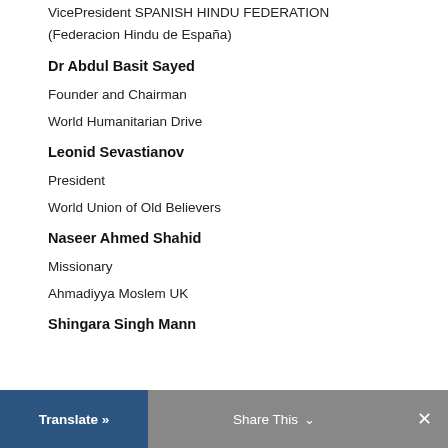VicePresident SPANISH HINDU FEDERATION (Federacion Hindu de España)
Dr Abdul Basit Sayed
Founder and Chairman
World Humanitarian Drive
Leonid Sevastianov
President
World Union of Old Believers
Naseer Ahmed Shahid
Missionary
Ahmadiyya Moslem UK
Shingara Singh Mann
Translate »   Share This   ×